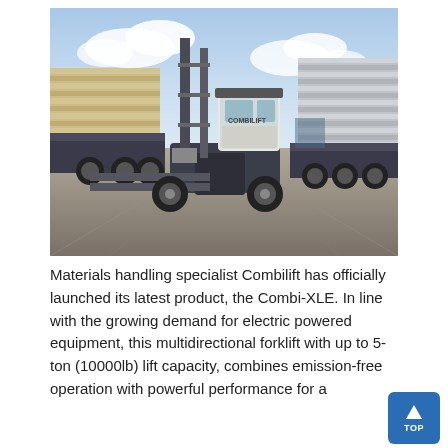[Figure (photo): A Combilift multidirectional forklift (Combi-XLE) with grey/white livery, raised mast, shown in a lumber yard or industrial storage facility with stacked timber pallets on both sides and a flatbed truck in the background. Overcast sky with some blue patches visible.]
Materials handling specialist Combilift has officially launched its latest product, the Combi-XLE. In line with the growing demand for electric powered equipment, this multidirectional forklift with up to 5-ton (10000lb) lift capacity, combines emission-free operation with powerful performance for a